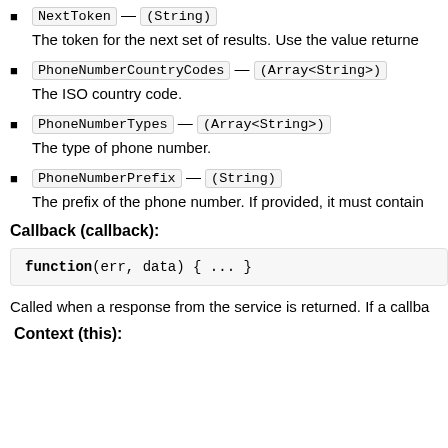NextToken — (String)
The token for the next set of results. Use the value returne
PhoneNumberCountryCodes — (Array<String>)
The ISO country code.
PhoneNumberTypes — (Array<String>)
The type of phone number.
PhoneNumberPrefix — (String)
The prefix of the phone number. If provided, it must contain
Callback (callback):
Called when a response from the service is returned. If a callba
Context (this):